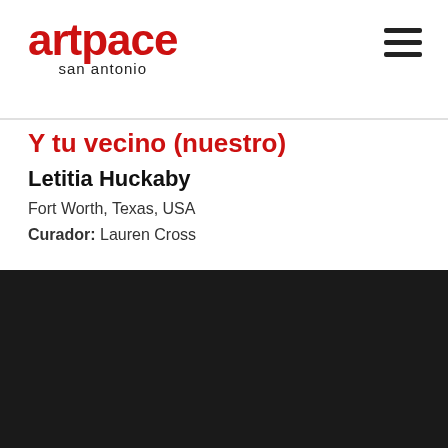[Figure (logo): Artpace San Antonio logo in red and black]
Y tu vecino (nuestro)
Letitia Huckaby
Fort Worth, Texas, USA
Curador: Lauren Cross
¡Ser El Primero En Saber!
Suscríbase al boletín de Artpace para recibir noticias, eventos y más en su bandeja de entrada.